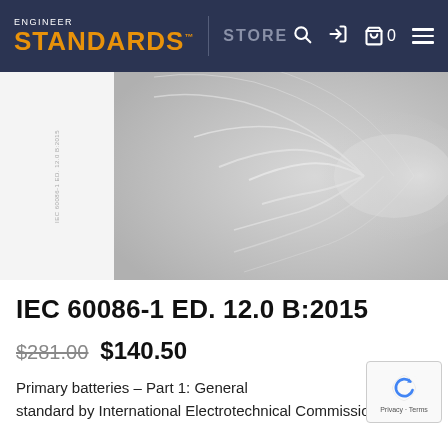ENGINEER STANDARDS™ STORE
[Figure (photo): Document cover image showing a light grey abstract wave/ripple texture pattern on the cover of IEC 60086-1 ED. 12.0 B:2015 standard]
IEC 60086-1 ED. 12.0 B:2015
$281.00 $140.50
Primary batteries – Part 1: General standard by International Electrotechnical Commission